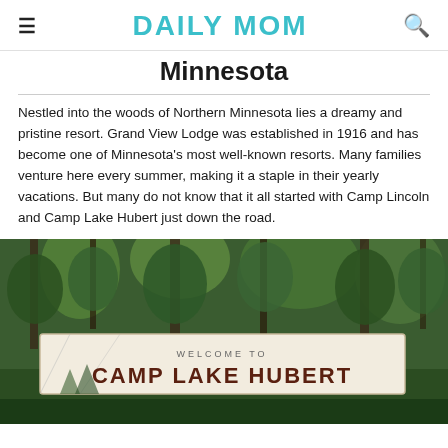DAILY MOM
Minnesota
Nestled into the woods of Northern Minnesota lies a dreamy and pristine resort. Grand View Lodge was established in 1916 and has become one of Minnesota's most well-known resorts. Many families venture here every summer, making it a staple in their yearly vacations. But many do not know that it all started with Camp Lincoln and Camp Lake Hubert just down the road.
[Figure (photo): Outdoor photo showing trees in the background and a white banner sign reading 'WELCOME TO CAMP LAKE HUBERT' with tree silhouettes at the bottom.]